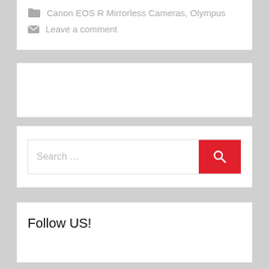Canon EOS R Mirrorless Cameras, Olympus
Leave a comment
[Figure (other): Empty white card / advertisement placeholder]
[Figure (other): Search bar with red search button and magnifying glass icon]
Follow US!
[Figure (other): Partial white card at bottom with red text beginning 'Follow @CameraTimes']